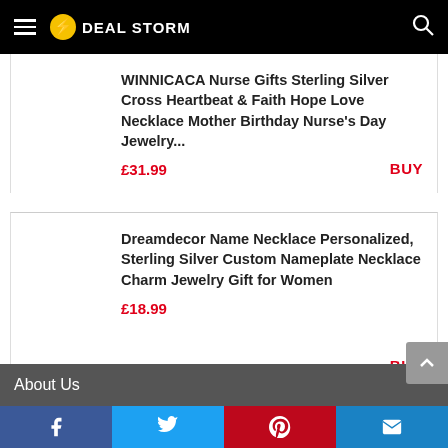DEAL STORM
WINNICACA Nurse Gifts Sterling Silver Cross Heartbeat & Faith Hope Love Necklace Mother Birthday Nurse's Day Jewelry...
£31.99
BUY
Dreamdecor Name Necklace Personalized, Sterling Silver Custom Nameplate Necklace Charm Jewelry Gift for Women
£18.99
BUY
About Us
Facebook Twitter Pinterest Email